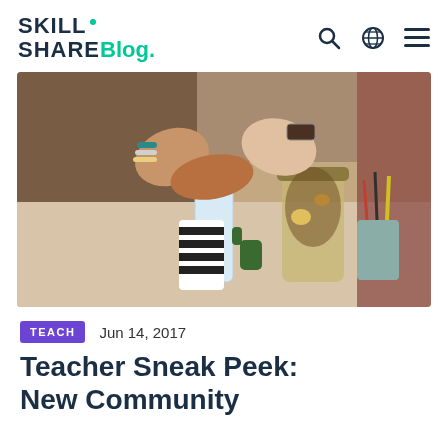SKILL SHARE Blog.
[Figure (photo): Multiple hands doing a fist bump over a table with a water bottle, mason jar with granola, pencil cup, and cactus plant. One person wearing bracelets, another wearing a watch.]
TEACH   Jun 14, 2017
Teacher Sneak Peek: New Community